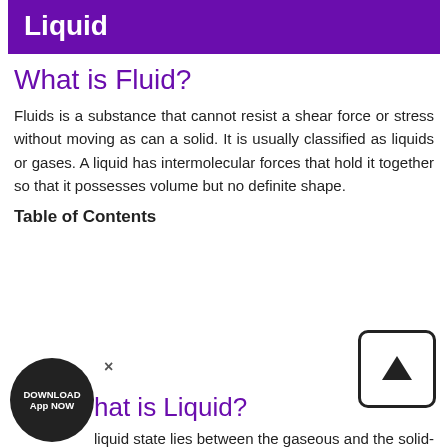Liquid
What is Fluid?
Fluids is a substance that cannot resist a shear force or stress without moving as can a solid. It is usually classified as liquids or gases. A liquid has intermolecular forces that hold it together so that it possesses volume but no definite shape.
Table of Contents
What Is Liquid?
Difference Between Fluid And Liquid
Recommended Videos
FAQs
What is Liquid?
liquid state lies between the gaseous and the solid-state in the sense that there is neither the ordered arrangement of constituents nor the complete disorder as in gases.